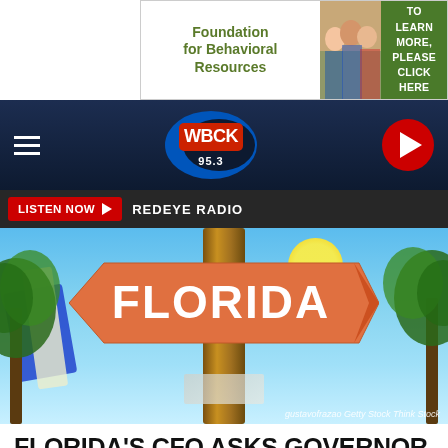[Figure (other): Foundation for Behavioral Resources banner advertisement with green text and photo of smiling young people, with green 'TO LEARN MORE, PLEASE CLICK HERE' call-to-action button]
[Figure (other): WBCK 95.3 radio station navigation bar with hamburger menu, logo, and red play button]
LISTEN NOW ▶   REDEYE RADIO
[Figure (photo): Florida tourism sign - wooden post with orange arrow-shaped sign reading FLORIDA in white bold text, tropical background with palm trees and blue sky. Credit: gustavofrazao Getty Stock Think Stock]
FLORIDA'S CFO ASKS GOVERNOR WHITMER TO SHARE HER RECENT